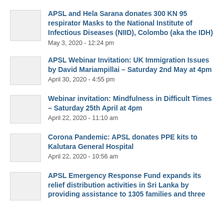APSL and Hela Sarana donates 300 KN 95 respirator Masks to the National Institute of Infectious Diseases (NIID), Colombo (aka the IDH)
May 3, 2020 - 12:24 pm
APSL Webinar Invitation: UK Immigration Issues by David Mariampillai – Saturday 2nd May at 4pm
April 30, 2020 - 4:55 pm
Webinar invitation: Mindfulness in Difficult Times – Saturday 25th April at 4pm
April 22, 2020 - 11:10 am
Corona Pandemic: APSL donates PPE kits to Kalutara General Hospital
April 22, 2020 - 10:56 am
APSL Emergency Response Fund expands its relief distribution activities in Sri Lanka by providing assistance to 1305 families and three